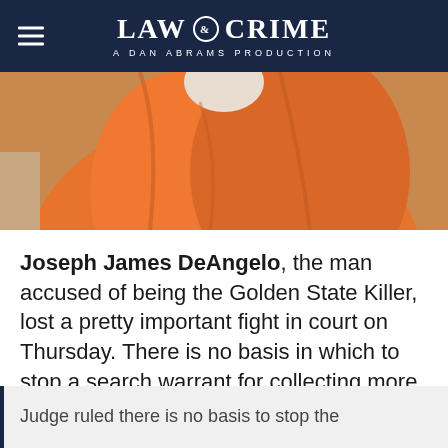LAW & CRIME — A DAN ABRAMS PRODUCTION
[Figure (photo): Person wearing orange prison jumpsuit, visible from shoulders/chest area]
Joseph James DeAngelo, the man accused of being the Golden State Killer, lost a pretty important fight in court on Thursday. There is no basis in which to stop a search warrant for collecting more DNA from the defendant, his fingerprints, and for taking pictures of his entire body, including his penis, a judge ruled.
Judge ruled there is no basis to stop the